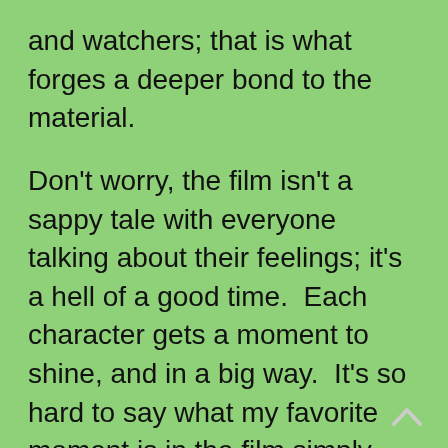and watchers; that is what forges a deeper bond to the material.
Don't worry, the film isn't a sappy tale with everyone talking about their feelings; it's a hell of a good time.  Each character gets a moment to shine, and in a big way.  It's so hard to say what my favorite moment is in the film simply because there are so many awesome moments. Music plays such an important role in these moments and in the film, and as impressive as the soundtrack